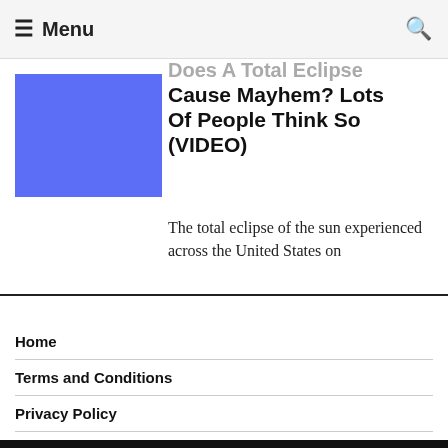Menu
Does A Total Eclipse Cause Mayhem? Lots Of People Think So (VIDEO)
[Figure (photo): Blue/purple rectangle placeholder thumbnail image]
The total eclipse of the sun experienced across the United States on
Home
Terms and Conditions
Privacy Policy
Digital Millennium Copyright Act
CATEGORIES